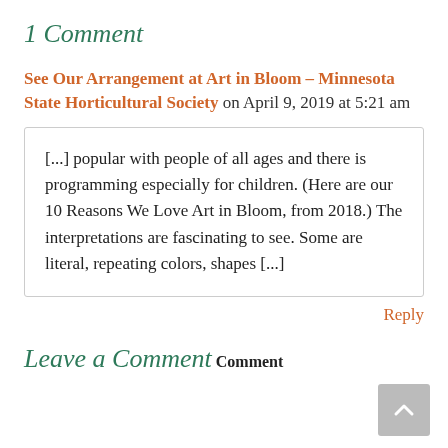1 Comment
See Our Arrangement at Art in Bloom – Minnesota State Horticultural Society on April 9, 2019 at 5:21 am
[...] popular with people of all ages and there is programming especially for children. (Here are our 10 Reasons We Love Art in Bloom, from 2018.) The interpretations are fascinating to see. Some are literal, repeating colors, shapes [...]
Reply
Leave a Comment
Comment